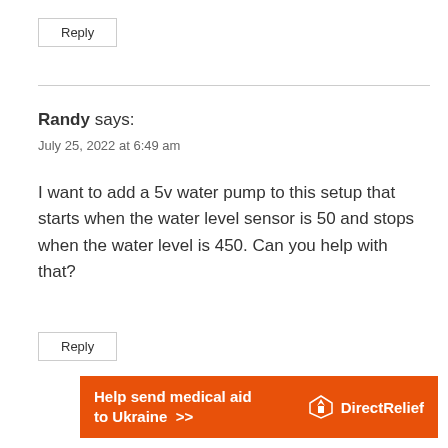Reply
Randy says:
July 25, 2022 at 6:49 am
I want to add a 5v water pump to this setup that starts when the water level sensor is 50 and stops when the water level is 450. Can you help with that?
Reply
[Figure (infographic): Orange advertisement banner reading 'Help send medical aid to Ukraine >>' with Direct Relief logo on the right]